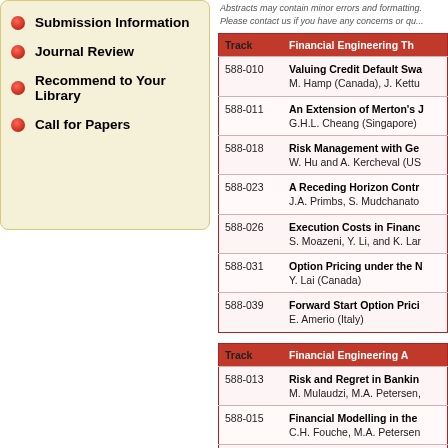Submission Information
Journal Review
Recommend to Your Library
Call for Papers
Abstracts may contain minor errors and formatting. Please contact us if you have any concerns or qu...
| Track | Financial Engineering Th... |
| --- | --- |
| 588-010 | Valuing Credit Default Swa...
M. Hamp (Canada), J. Kettu... |
| 588-011 | An Extension of Merton's J...
G.H.L. Cheang (Singapore) ... |
| 588-018 | Risk Management with Ge...
W. Hu and A. Kercheval (US... |
| 588-023 | A Receding Horizon Contr...
J.A. Primbs, S. Mudchanato... |
| 588-026 | Execution Costs in Financ...
S. Moazeni, Y. Li, and K. Lar... |
| 588-031 | Option Pricing under the N...
Y. Lai (Canada) |
| 588-039 | Forward Start Option Prici...
E. Amerio (Italy) |
| Track | Financial Engineering A... |
| --- | --- |
| 588-013 | Risk and Regret in Bankin...
M. Mulaudzi, M.A. Petersen,... |
| 588-015 | Financial Modelling in the ...
C.H. Fouche, M.A. Petersen... |
| 588-016 | Financial Valuation in the E...
... |